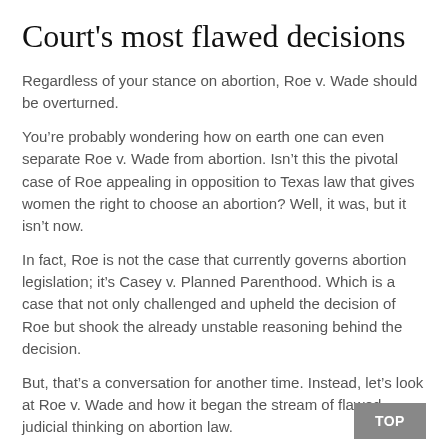Court's most flawed decisions
Regardless of your stance on abortion, Roe v. Wade should be overturned.
You’re probably wondering how on earth one can even separate Roe v. Wade from abortion. Isn’t this the pivotal case of Roe appealing in opposition to Texas law that gives women the right to choose an abortion? Well, it was, but it isn’t now.
In fact, Roe is not the case that currently governs abortion legislation; it’s Casey v. Planned Parenthood. Which is a case that not only challenged and upheld the decision of Roe but shook the already unstable reasoning behind the decision.
But, that’s a conversation for another time. Instead, let’s look at Roe v. Wade and how it began the stream of flawed judicial thinking on abortion law.